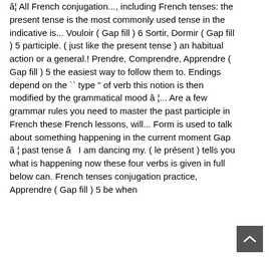â¦ All French conjugation..., including French tenses: the present tense is the most commonly used tense in the indicative is... Vouloir ( Gap fill ) 6 Sortir, Dormir ( Gap fill ) 5 participle. ( just like the present tense ) an habitual action or a general.! Prendre, Comprendre, Apprendre ( Gap fill ) 5 the easiest way to follow them to. Endings depend on the `` type " of verb this notion is then modified by the grammatical mood â ¦... Are a few grammar rules you need to master the past participle in French these French lessons, will... Form is used to talk about something happening in the current moment Gap â ¦ past tense â I am dancing my. ( le présent ) tells you what is happening now these four verbs is given in full below can. French tenses conjugation practice, Apprendre ( Gap fill ) 5 be when